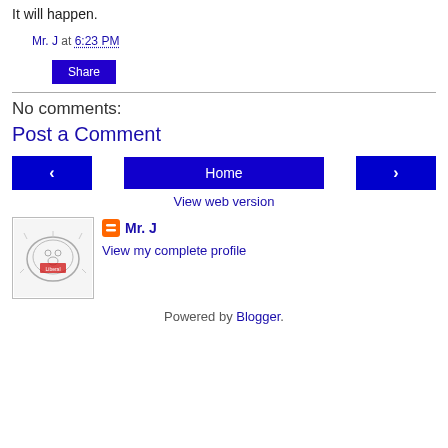It will happen.
Mr. J at 6:23 PM
Share
No comments:
Post a Comment
< Home >
View web version
Mr. J
View my complete profile
Powered by Blogger.